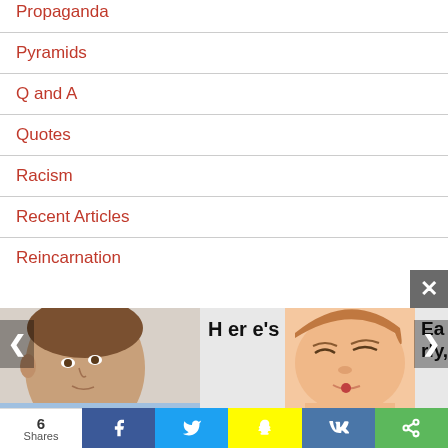Propaganda
Pyramids
Q and A
Quotes
Racism
Recent Articles
Reincarnation
Religion
Rene' Descartes
[Figure (screenshot): Bottom overlay with two promotional image thumbnails, navigation arrows, a close button (X), and text snippets 'Here's' and 'Early,' along with a social share bar showing 6 Shares and buttons for Facebook, Twitter, Snapchat, VK, and general share.]